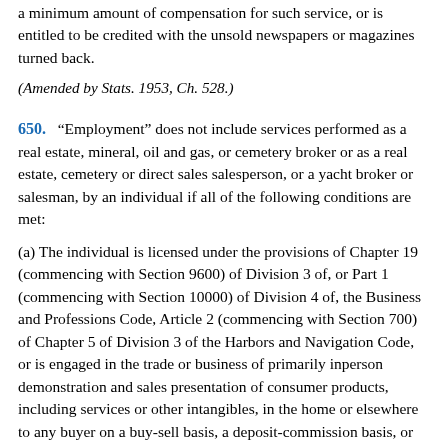a minimum amount of compensation for such service, or is entitled to be credited with the unsold newspapers or magazines turned back.
(Amended by Stats. 1953, Ch. 528.)
650.
“Employment” does not include services performed as a real estate, mineral, oil and gas, or cemetery broker or as a real estate, cemetery or direct sales salesperson, or a yacht broker or salesman, by an individual if all of the following conditions are met:
(a) The individual is licensed under the provisions of Chapter 19 (commencing with Section 9600) of Division 3 of, or Part 1 (commencing with Section 10000) of Division 4 of, the Business and Professions Code, Article 2 (commencing with Section 700) of Chapter 5 of Division 3 of the Harbors and Navigation Code, or is engaged in the trade or business of primarily inperson demonstration and sales presentation of consumer products, including services or other intangibles, in the home or elsewhere to any buyer on a buy-sell basis, a deposit-commission basis, or any similar basis, for resale by the buyer or any other person in